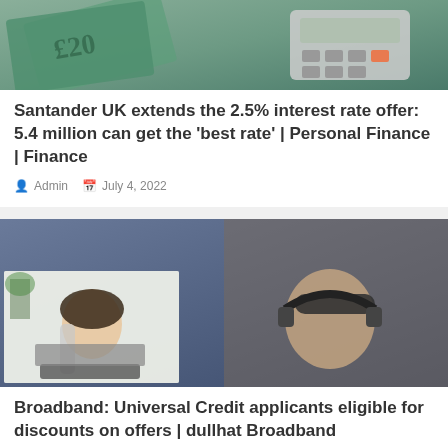[Figure (photo): UK pound notes and a calculator on a desk]
Santander UK extends the 2.5% interest rate offer: 5.4 million can get the ‘best rate’ | Personal Finance | Finance
Admin   July 4, 2022
[Figure (photo): Composite image: woman working on laptop and young person with headphones lying down]
Broadband: Universal Credit applicants eligible for discounts on offers | dullhat Broadband